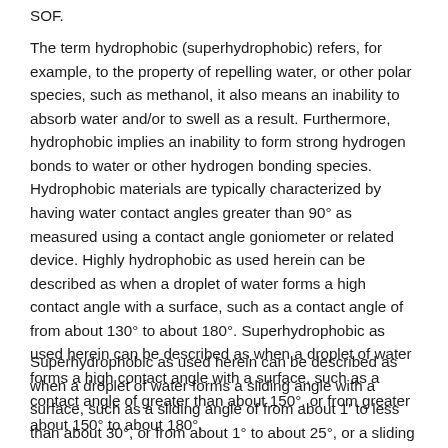SOF.
The term hydrophobic (superhydrophobic) refers, for example, to the property of repelling water, or other polar species, such as methanol, it also means an inability to absorb water and/or to swell as a result. Furthermore, hydrophobic implies an inability to form strong hydrogen bonds to water or other hydrogen bonding species. Hydrophobic materials are typically characterized by having water contact angles greater than 90° as measured using a contact angle goniometer or related device. Highly hydrophobic as used herein can be described as when a droplet of water forms a high contact angle with a surface, such as a contact angle of from about 130° to about 180°. Superhydrophobic as used herein can be described as when a droplet of water forms a high contact angle with a surface, such as a contact angle of greater than about 150°, or from greater about 150° to about 180°.
Superhydrophobic as used herein can be described as when a droplet of water forms a sliding angle with a surface, such as a sliding angle of from about 1' to less than about 30°, or from about 1° to about 25°, or a sliding